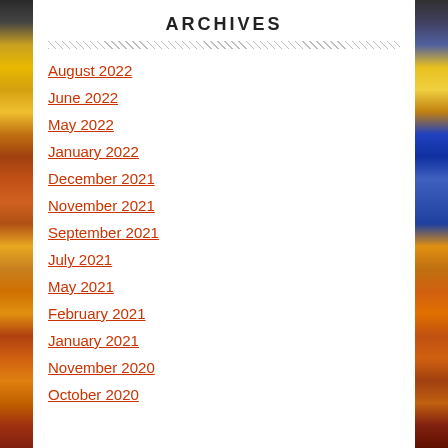ARCHIVES
August 2022
June 2022
May 2022
January 2022
December 2021
November 2021
September 2021
July 2021
May 2021
February 2021
January 2021
November 2020
October 2020